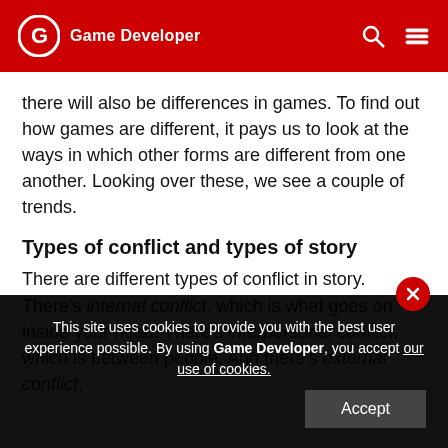Game Developer
there will also be differences in games. To find out how games are different, it pays us to look at the ways in which other forms are different from one another. Looking over these, we see a couple of trends.
Types of conflict and types of story
There are different types of conflict in story. There's internal conflict, which is what goes on inside your head. There's interpersonal conflict, which is between people. And there's external conflict,
This site uses cookies to provide you with the best user experience possible. By using Game Developer, you accept our use of cookies.